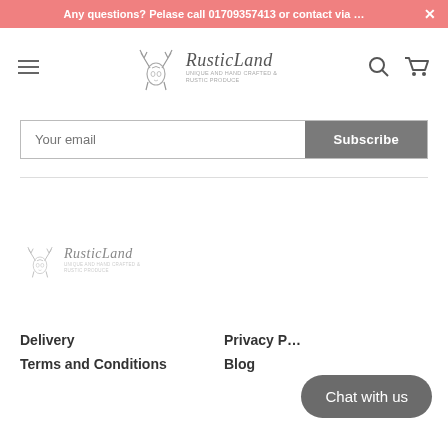Any questions? Pelase call 01709357413 or contact via …
[Figure (logo): RusticLand logo with deer/stag illustration and brand name in nav bar]
Your email
Subscribe
[Figure (logo): RusticLand footer logo with deer/stag illustration]
Chat with us
Delivery
Privacy P…
Terms and Conditions
Blog